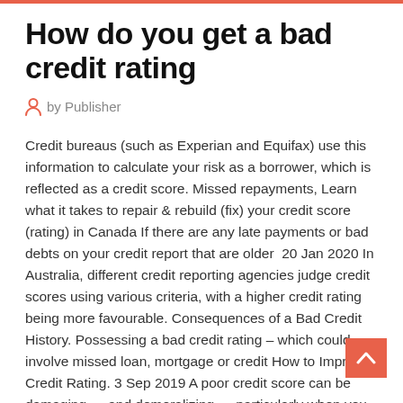How do you get a bad credit rating
by Publisher
Credit bureaus (such as Experian and Equifax) use this information to calculate your risk as a borrower, which is reflected as a credit score. Missed repayments, Learn what it takes to repair & rebuild (fix) your credit score (rating) in Canada If there are any late payments or bad debts on your credit report that are older  20 Jan 2020 In Australia, different credit reporting agencies judge credit scores using various criteria, with a higher credit rating being more favourable. Consequences of a Bad Credit History. Possessing a bad credit rating – which could involve missed loan, mortgage or credit How to Improve a Credit Rating. 3 Sep 2019 A poor credit score can be damaging — and demoralizing — particularly when you apply for a mortgage or new car loan.